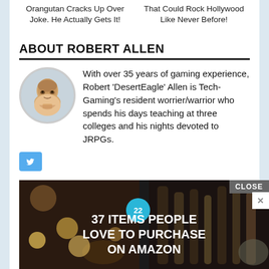Orangutan Cracks Up Over Joke. He Actually Gets It!
That Could Rock Hollywood Like Never Before!
ABOUT ROBERT ALLEN
With over 35 years of gaming experience, Robert 'DesertEagle' Allen is Tech-Gaming's resident worrier/warrior who spends his days teaching at three colleges and his nights devoted to JRPGs.
[Figure (logo): Twitter bird icon in blue square]
RELATED ARTICLES
[Figure (photo): Advertisement banner: 37 ITEMS PEOPLE LOVE TO PURCHASE ON AMAZON with food/kitchen items background and number 22 badge]